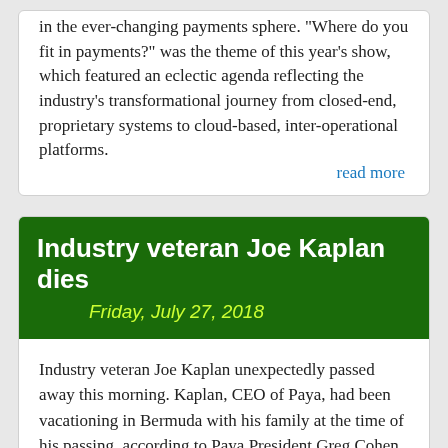in the ever-changing payments sphere. "Where do you fit in payments?" was the theme of this year's show, which featured an eclectic agenda reflecting the industry's transformational journey from closed-end, proprietary systems to cloud-based, inter-operational platforms.
read more
Industry veteran Joe Kaplan dies
Friday, July 27, 2018
Industry veteran Joe Kaplan unexpectedly passed away this morning. Kaplan, CEO of Paya, had been vacationing in Bermuda with his family at the time of his passing, according to Paya President Greg Cohen. "The entire Paya family mourns this loss," Cohen said in a